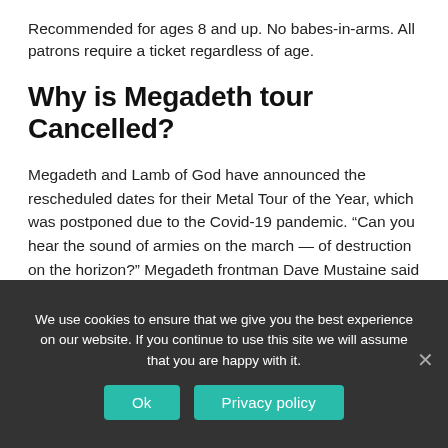Recommended for ages 8 and up. No babes-in-arms. All patrons require a ticket regardless of age.
Why is Megadeth tour Cancelled?
Megadeth and Lamb of God have announced the rescheduled dates for their Metal Tour of the Year, which was postponed due to the Covid-19 pandemic. “Can you hear the sound of armies on the march — of destruction on the horizon?” Megadeth frontman Dave Mustaine said in a statement.
We use cookies to ensure that we give you the best experience on our website. If you continue to use this site we will assume that you are happy with it.